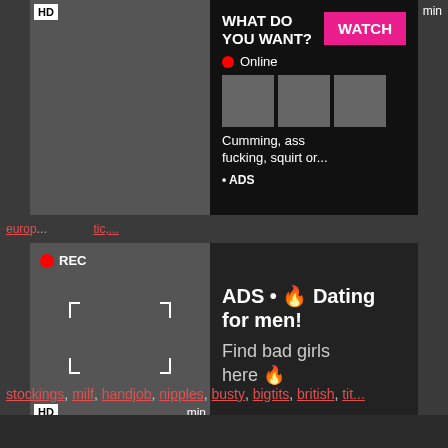[Figure (screenshot): Adult video thumbnail with HD badge, top-left area]
[Figure (screenshot): Advertisement overlay: WHAT DO YOU WANT? WATCH button, Online status, thumbnail images, text about adult content, ADS label]
euro... tic,...
[Figure (screenshot): Second adult video thumbnail with REC badge, HD badge, recording frame overlay]
ADS • 🔥 Dating for men! Find bad girls here 🔥
Stockinged British Stockings Milf Handjob
stockings, milf, handjob, nipples, busty, bigtits, british, tit...
[Figure (screenshot): Bottom dark video thumbnail area]